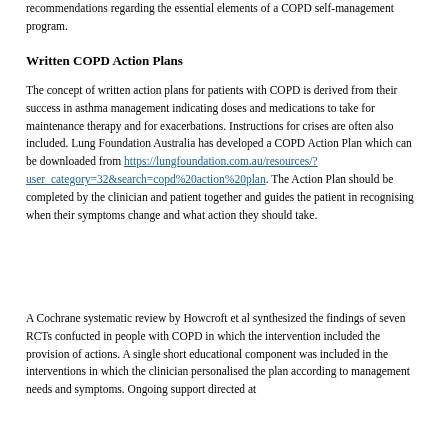recommendations regarding the essential elements of a COPD self-management program.
Written COPD Action Plans
The concept of written action plans for patients with COPD is derived from their success in asthma management indicating doses and medications to take for maintenance therapy and for exacerbations. Instructions for crises are often also included. Lung Foundation Australia has developed a COPD Action Plan which can be downloaded from https://lungfoundation.com.au/resources/?user_category=32&search=copd%20action%20plan. The Action Plan should be completed by the clinician and patient together and guides the patient in recognising when their symptoms change and what action they should take.
A Cochrane systematic review by Howcroft et al synthesized the findings of seven RCTs confucted in people with COPD in which the intervention included the provision of actions. A single short educational component was included in the interventions in which the clinician personalised the plan according to management needs and symptoms. Ongoing support directed at